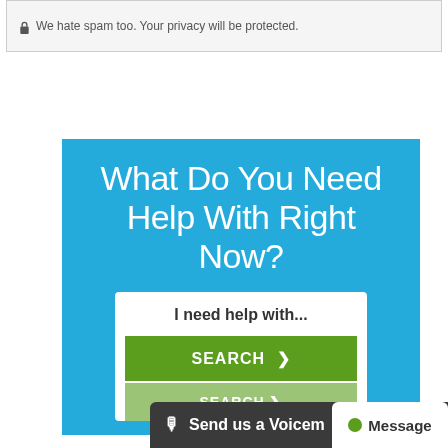We hate spam too. Your privacy will be protected.
What Do You Need Help With Right Now?
I need help with...
SEARCH >
Send us a Voicemail
Message